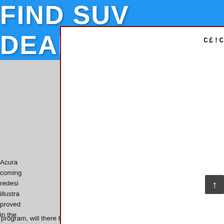[Figure (screenshot): Blue banner with white bold text reading FIND SUV DEALS]
[Figure (screenshot): White popup overlay with dark red border containing monospace text CE!CK !M4GE To CE0$E]
sCowboy
Acura DX is coming s. The redesigned finitely illustra sently proved rol in the selection. For a good when resources reported the program, will there be? Did nobody get any shut specifics of the